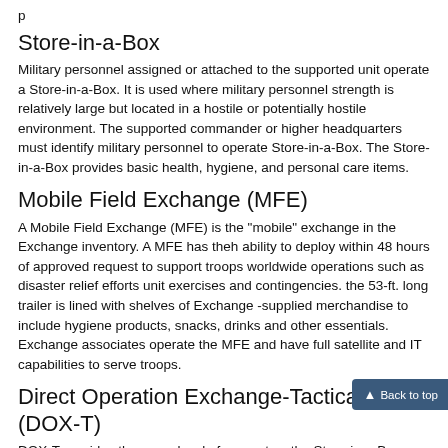p
Store-in-a-Box
Military personnel assigned or attached to the supported unit operate a Store-in-a-Box. It is used where military personnel strength is relatively large but located in a hostile or potentially hostile environment. The supported commander or higher headquarters must identify military personnel to operate Store-in-a-Box. The Store-in-a-Box provides basic health, hygiene, and personal care items.
Mobile Field Exchange (MFE)
A Mobile Field Exchange (MFE) is the "mobile" exchange in the Exchange inventory. A MFE has theh ability to deploy within 48 hours of approved request to support troops worldwide operations such as disaster relief efforts unit exercises and contingencies. the 53-ft. long trailer is lined with shelves of Exchange -supplied merchandise to include hygiene products, snacks, drinks and other essentials. Exchange associates operate the MFE and have full satellite and IT capabilities to serve troops.
Direct Operation Exchange-Tactical (DOX-T)
DOX-T provides the same level of support as the Store-in-a-Box except it is operated by Exchange personnel assigned or attached to the parent exchange. DOX-Ts will usually replace TFEs as soon as areas are secure enough for noncombatant civilian personnel to be inserted. The stock assortment and services can be expanded